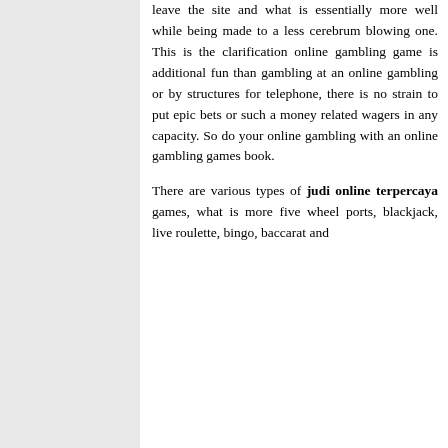leave the site and what is essentially more well while being made to a less cerebrum blowing one. This is the clarification online gambling game is additional fun than gambling at an online gambling or by structures for telephone, there is no strain to put epic bets or such a money related wagers in any capacity. So do your online gambling with an online gambling games book.
There are various types of judi online terpercaya games, what is more five wheel ports, blackjack, live roulette, bingo, baccarat and